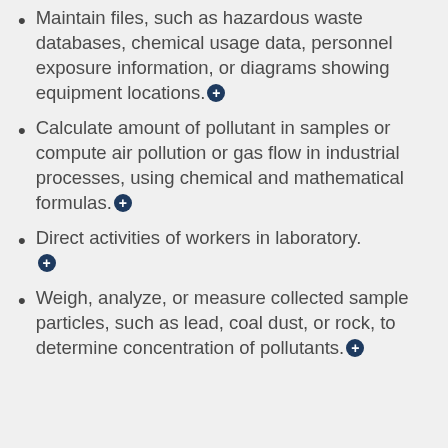Maintain files, such as hazardous waste databases, chemical usage data, personnel exposure information, or diagrams showing equipment locations.
Calculate amount of pollutant in samples or compute air pollution or gas flow in industrial processes, using chemical and mathematical formulas.
Direct activities of workers in laboratory.
Weigh, analyze, or measure collected sample particles, such as lead, coal dust, or rock, to determine concentration of pollutants.